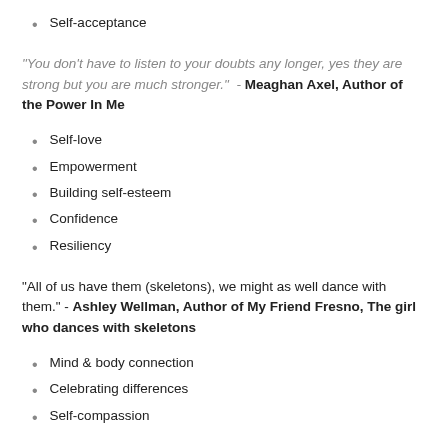Self-acceptance
“You don’t have to listen to your doubts any longer, yes they are strong but you are much stronger.” - Meaghan Axel, Author of the Power In Me
Self-love
Empowerment
Building self-esteem
Confidence
Resiliency
“All of us have them (skeletons), we might as well dance with them.” - Ashley Wellman, Author of My Friend Fresno, The girl who dances with skeletons
Mind & body connection
Celebrating differences
Self-compassion